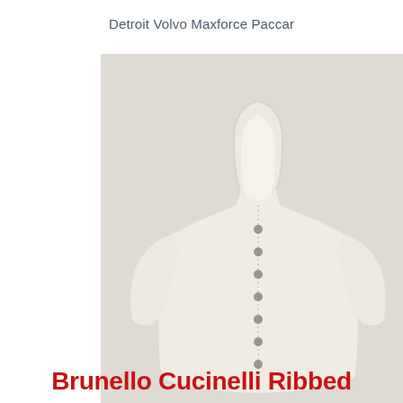Detroit Volvo Maxforce Paccar
[Figure (photo): Product photo of a cream/ivory Brunello Cucinelli ribbed hooded cardigan with snap buttons, shown from the front and a close-up detail of the ribbed cuff and lining.]
Brunello Cucinelli Ribbed